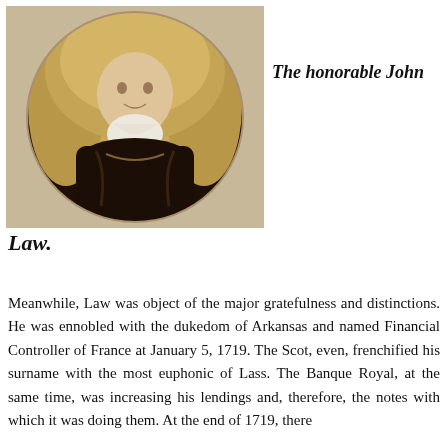[Figure (photo): Portrait painting of John Law, a man with a long curly wig wearing dark velvet clothing with a lace cravat, depicted in an oval frame set against a beige/tan background.]
The honorable John Law.
Meanwhile, Law was object of the major gratefulness and distinctions. He was ennobled with the dukedom of Arkansas and named Financial Controller of France at January 5, 1719. The Scot, even, frenchified his surname with the most euphonic of Lass. The Banque Royal, at the same time, was increasing his lendings and, therefore, the notes with which it was doing them. At the end of 1719, there